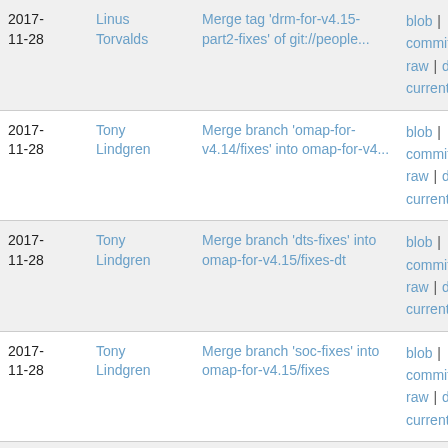| Date | Author | Commit message | Links |
| --- | --- | --- | --- |
| 2017-11-28 | Linus Torvalds | Merge tag 'drm-for-v4.15-part2-fixes' of git://people... | blob | commitdiff | raw | diff to current |
| 2017-11-28 | Tony Lindgren | Merge branch 'omap-for-v4.14/fixes' into omap-for-v4... | blob | commitdiff | raw | diff to current |
| 2017-11-28 | Tony Lindgren | Merge branch 'dts-fixes' into omap-for-v4.15/fixes-dt | blob | commitdiff | raw | diff to current |
| 2017-11-28 | Tony Lindgren | Merge branch 'soc-fixes' into omap-for-v4.15/fixes | blob | commitdiff | raw | diff to current |
| 2017-11-27 | Florian Fainelli | Merge tag 'bcm2835-dt-next-fixes-2017-11-15' into devic... | blob | commitdiff | raw | diff to current |
| 2017-11-27 | Mauro Carvalho | Merge tag 'v4.15-rc1' into patchwork | blob | commitdiff |